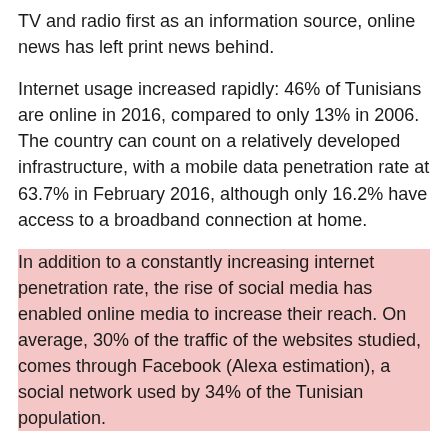TV and radio first as an information source, online news has left print news behind.
Internet usage increased rapidly: 46% of Tunisians are online in 2016, compared to only 13% in 2006. The country can count on a relatively developed infrastructure, with a mobile data penetration rate at 63.7% in February 2016, although only 16.2% have access to a broadband connection at home.
In addition to a constantly increasing internet penetration rate, the rise of social media has enabled online media to increase their reach. On average, 30% of the traffic of the websites studied, comes through Facebook (Alexa estimation), a social network used by 34% of the Tunisian population.
Diversity